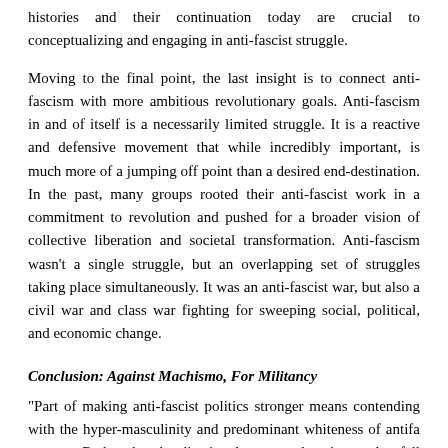histories and their continuation today are crucial to conceptualizing and engaging in anti-fascist struggle.
Moving to the final point, the last insight is to connect anti-fascism with more ambitious revolutionary goals. Anti-fascism in and of itself is a necessarily limited struggle. It is a reactive and defensive movement that while incredibly important, is much more of a jumping off point than a desired end-destination. In the past, many groups rooted their anti-fascist work in a commitment to revolution and pushed for a broader vision of collective liberation and societal transformation. Anti-fascism wasn't a single struggle, but an overlapping set of struggles taking place simultaneously. It was an anti-fascist war, but also a civil war and class war fighting for sweeping social, political, and economic change.
Conclusion: Against Machismo, For Militancy
“Part of making anti-fascist politics stronger means contending with the hyper-masculinity and predominant whiteness of antifa spaces…Rather than be dismissed as secondary issues that fall behind the primary goal of confronting fascists, disability justice, anti-racism, and feminism should be at the forefront of any revolutionary analysis… This also means recognizing that anti-fascism is a necessary but insufficient political solution to the